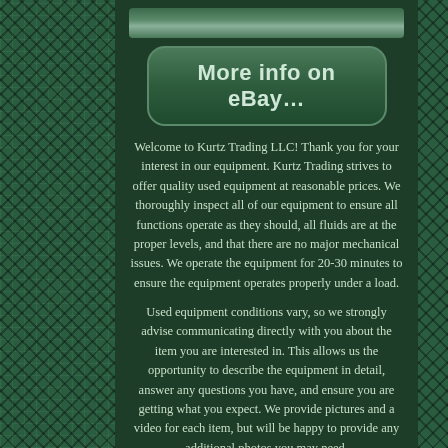[Figure (photo): Partial image strip at top of content area showing equipment photo]
[Figure (other): Rounded rectangle button with text 'More info on eBay...' on dark green background]
Welcome to Kurtz Trading LLC! Thank you for your interest in our equipment. Kurtz Trading strives to offer quality used equipment at reasonable prices. We thoroughly inspect all of our equipment to ensure all functions operate as they should, all fluids are at the proper levels, and that there are no major mechanical issues. We operate the equipment for 20-30 minutes to ensure the equipment operates properly under a load.
Used equipment conditions vary, so we strongly advise communicating directly with you about the item you are interested in. This allows us the opportunity to describe the equipment in detail, answer any questions you have, and ensure you are getting what you expect. We provide pictures and a video for each item, but will be happy to provide any additional photos you may need.
Equipment That is Coming In Soon! Once the item arrives and has been inspected by our shop we will post pictures and a video.
We will be able to answer most questions about the item, but cannot guaranty details until we have received and inspected the item. All of our attachments are tested to ensure their functionality and overall condition. We encourage you to call and confirm the attachments